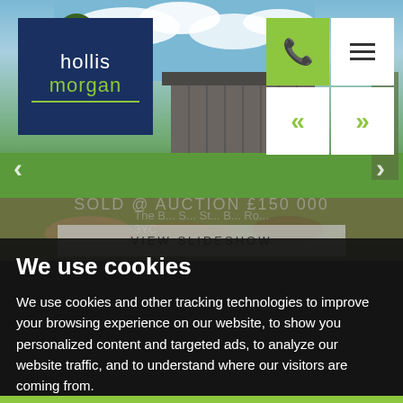[Figure (photo): Outdoor photo showing a wooden barn/shed structure surrounded by grass and rubble, with blue sky and clouds in the background. Hollis Morgan estate agency logo in top-left corner with navigation buttons top-right.]
VIEW SLIDESHOW
SOLD @ AUCTION £150 000
We use cookies
We use cookies and other tracking technologies to improve your browsing experience on our website, to show you personalized content and targeted ads, to analyze our website traffic, and to understand where our visitors are coming from.